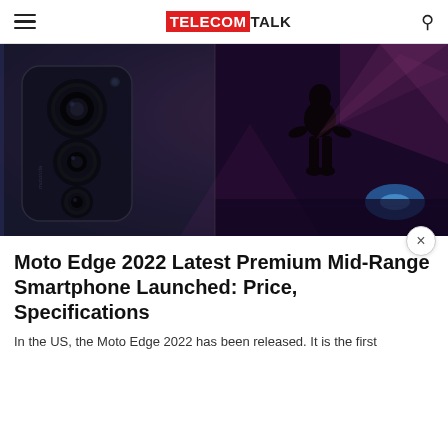TELECOMTALK
[Figure (photo): Moto Edge 2022 smartphone shown from back with triple camera system on the left and a silhouette of a person on the right with purple/pink stage lighting in the background.]
Moto Edge 2022 Latest Premium Mid-Range Smartphone Launched: Price, Specifications
In the US, the Moto Edge 2022 has been released. It is the first